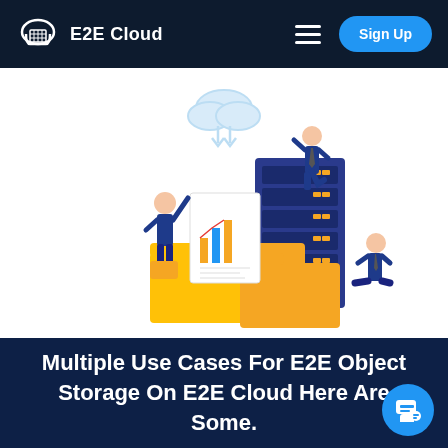E2E Cloud
[Figure (illustration): Cloud storage illustration showing business people, server rack, and file folders with a cloud icon above]
Multiple Use Cases For E2E Object Storage On E2E Cloud Here Are Some.